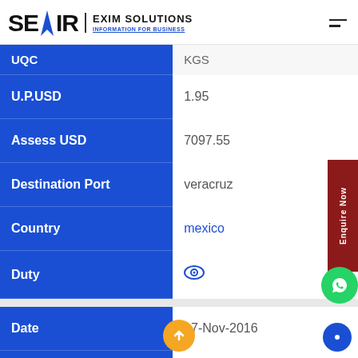SEAIR EXIM SOLUTIONS - INFORMATION FOR BUSINESS
| Field | Value |
| --- | --- |
| UQC | KGS |
| U.P.USD | 1.95 |
| Assess USD | 7097.55 |
| Destination Port | veracruz |
| Country | mexico |
| Duty |  |
| Date | 17-Nov-2016 |
| Indian Port |  |